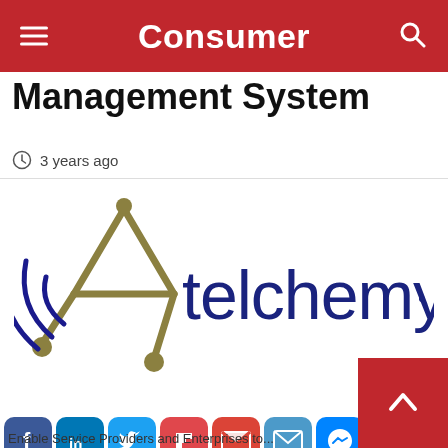Consumer
Management System
3 years ago
[Figure (logo): Telchemy logo — stylized geometric figure with olive/gold lines and circles on left, 'telchemy' text in dark blue on right]
[Figure (infographic): Social sharing buttons row: Facebook, LinkedIn, Twitter, Flipboard, Gmail, Email, Messenger, Digg, Telegram, and a '+' AddThis button with Pinterest Save]
Enable Service Providers and Enterprises to...